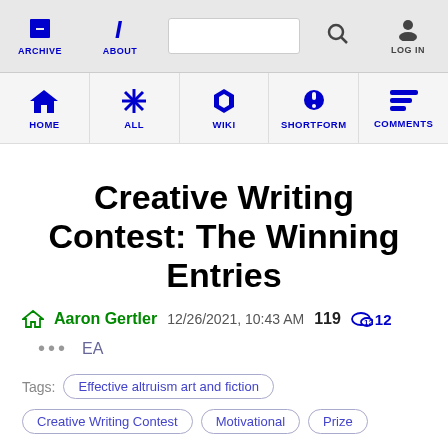ARCHIVE  ABOUT  [search]  LOG IN
HOME  ALL  WIKI  SHORTFORM  COMMENTS
Creative Writing Contest: The Winning Entries
Aaron Gertler  12/26/2021, 10:43 AM  119  12
...  EA
Tags:  Effective altruism art and fiction  Creative Writing Contest  Motivational  Prize
Contents